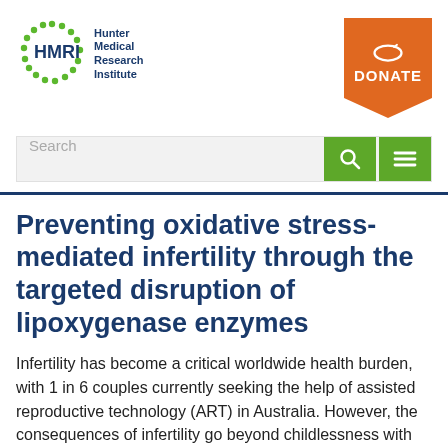[Figure (logo): Hunter Medical Research Institute (HMRI) logo with green dotted circular graphic and dark blue text, alongside an orange Donate badge with shield shape]
[Figure (screenshot): Search bar with green search button and green hamburger menu button]
Preventing oxidative stress-mediated infertility through the targeted disruption of lipoxygenase enzymes
Infertility has become a critical worldwide health burden, with 1 in 6 couples currently seeking the help of assisted reproductive technology (ART) in Australia. However, the consequences of infertility go beyond childlessness with the failure to conceive now documented as a leading